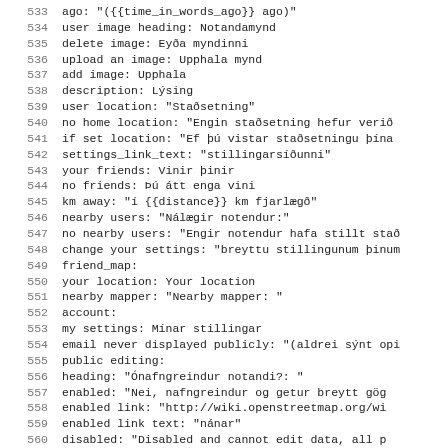533  ago: "({{time_in_words_ago}} ago)"
534      user image heading: Notandamynd
535      delete image: Eyða myndinni
536      upload an image: Upphala mynd
537      add image: Upphala
538      description: Lýsing
539      user location: "Staðsetning"
540      no home location: "Engin staðsetning hefur verið
541      if set location: "Ef þú vistar staðsetningu þína
542      settings_link_text: "stillingarsíðunni"
543      your friends: Vinir þinir
544      no friends: Þú átt enga vini
545      km away: "í {{distance}} km fjarlægð"
546      nearby users: "Nálægir notendur:"
547      no nearby users: "Engir notendur hafa stillt stað
548      change your settings: "breyttu stillingunum þinum
549  friend_map:
550      your location: Your location
551      nearby mapper: "Nearby mapper: "
552  account:
553      my settings: Mínar stillingar
554      email never displayed publicly: "(aldrei sýnt opi
555      public editing:
556          heading: "Ónafngreindur notandi?: "
557          enabled: "Nei, nafngreindur og getur breytt gög
558          enabled link: "http://wiki.openstreetmap.org/wi
559          enabled link text: "nánar"
560          disabled: "Disabled and cannot edit data, all p
561          disabled link text: "why can't I edit?"
562      profile description: "Lýsing á þér: "
563      preferred languages: "Viðmótstungumál: "
564      home location: "Staðsetning: "
565      ...